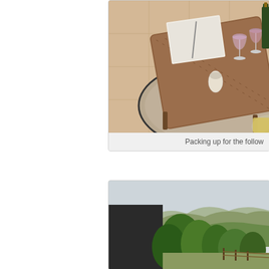[Figure (photo): Top-down view of a wooden dining table with wine glasses, a wine bottle, papers/menu, and a round woven rug on a tile floor]
Packing up for the follow
[Figure (photo): Outdoor scenic view with green trees, rolling hills and mountains in the background under a light sky, with a dark structure/fence in the foreground]